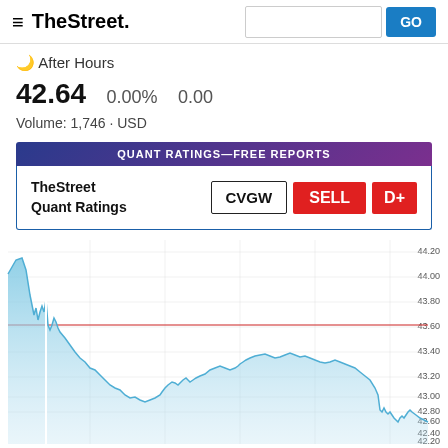TheStreet
After Hours
42.64   0.00%   0.00
Volume: 1,746 · USD
QUANT RATINGS—FREE REPORTS
TheStreet Quant Ratings  CVGW  SELL  D+
[Figure (area-chart): Intraday area chart for CVGW showing price ranging from approximately 42.20 to 44.20, with a red horizontal reference line near 43.65. The price spikes early near 44.00 then trends down to around 42.60-43.00 range.]